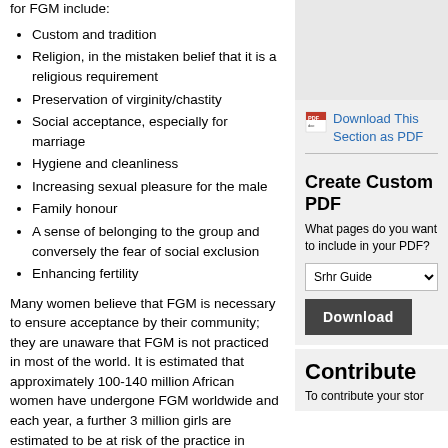for FGM include:
Custom and tradition
Religion, in the mistaken belief that it is a religious requirement
Preservation of virginity/chastity
Social acceptance, especially for marriage
Hygiene and cleanliness
Increasing sexual pleasure for the male
Family honour
A sense of belonging to the group and conversely the fear of social exclusion
Enhancing fertility
Many women believe that FGM is necessary to ensure acceptance by their community; they are unaware that FGM is not practiced in most of the world. It is estimated that approximately 100-140 million African women have undergone FGM worldwide and each year, a further 3 million girls are estimated to be at risk of the practice in Africa
[Figure (other): Gray image placeholder box in the right sidebar]
Download This Section as PDF
Create Custom PDF
What pages do you want to include in your PDF?
Contribute
To contribute your stor